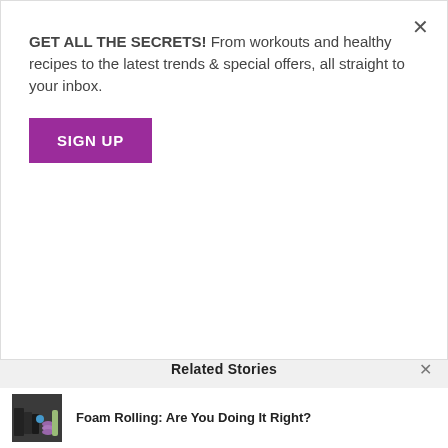GET ALL THE SECRETS! From workouts and healthy recipes to the latest trends & special offers, all straight to your inbox.
SIGN UP
some of our favourite summer scents
You Might also Like
[Figure (photo): Gym equipment including dumbbells, foam rollers, yoga mat, and a water bottle on a shelf]
[Figure (photo): Close-up of running shoes on stone steps]
Related Stories
[Figure (photo): Thumbnail of gym equipment including dumbbells, foam rollers]
Foam Rolling: Are You Doing It Right?